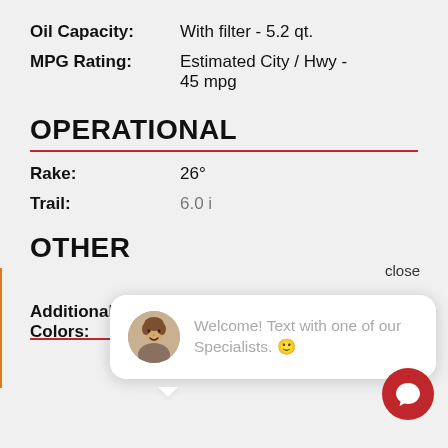Oil Capacity: With filter - 5.2 qt.
MPG Rating: Estimated City / Hwy - 45 mpg
OPERATIONAL
Rake: 26°
Trail: 6.0 in
OTHER
Additional Colors: Vivid Black (Chrome Option)
Billiard Teal (Chrome
[Figure (screenshot): Chat popup with avatar photo of a man smiling, and text: Welcome! Text with one of our Specialists. 🙂]
close